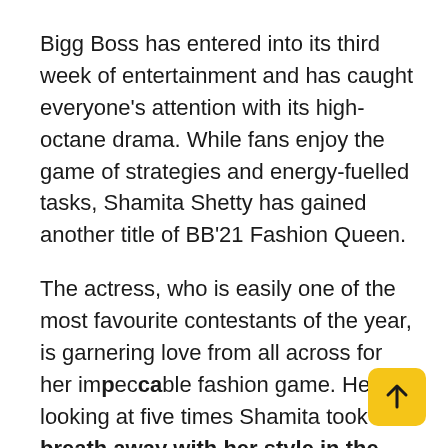Bigg Boss has entered into its third week of entertainment and has caught everyone's attention with its high-octane drama. While fans enjoy the game of strategies and energy-fuelled tasks, Shamita Shetty has gained another title of BB'21 Fashion Queen.
The actress, who is easily one of the most favourite contestants of the year, is garnering love from all across for her impeccable fashion game. Here's looking at five times Shamita took our breath away with her style in the house.